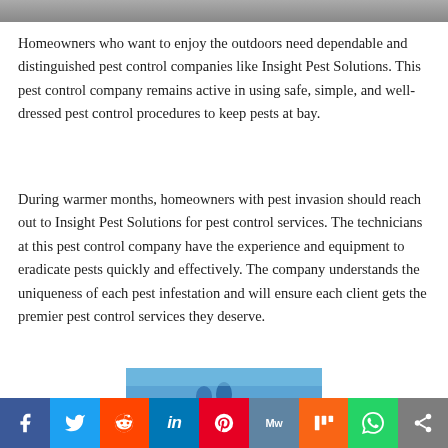[Figure (photo): Partial top edge of an outdoor/indoor photo, cropped]
Homeowners who want to enjoy the outdoors need dependable and distinguished pest control companies like Insight Pest Solutions. This pest control company remains active in using safe, simple, and well-dressed pest control procedures to keep pests at bay.
During warmer months, homeowners with pest invasion should reach out to Insight Pest Solutions for pest control services. The technicians at this pest control company have the experience and equipment to eradicate pests quickly and effectively. The company understands the uniqueness of each pest infestation and will ensure each client gets the premier pest control services they deserve.
[Figure (photo): Partial bottom image, appears to show figures outdoors with blue sky background]
[Figure (other): Social media share bar with Facebook, Twitter, Reddit, LinkedIn, Pinterest, MeWe, Mix, WhatsApp, and share buttons]